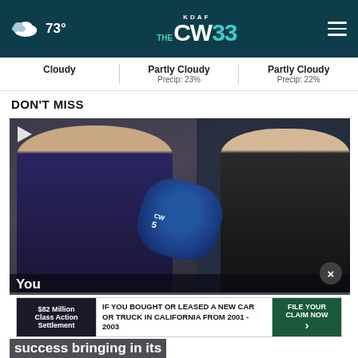73° | KDAF THE CW 33
Cloudy | Partly Cloudy Precip: 23% | Partly Cloudy Precip: 22%
DON'T MISS
[Figure (screenshot): Video thumbnail showing two men in an interview setting, one holding a microphone with a CW5 logo. A close (x) button is visible in the lower right corner.]
$82 Million Class Action Settlement | IF YOU BOUGHT OR LEASED A NEW CAR OR TRUCK IN CALIFORNIA FROM 2001 - 2003 | FILE YOUR CLAIM NOW
You... success bringing in its